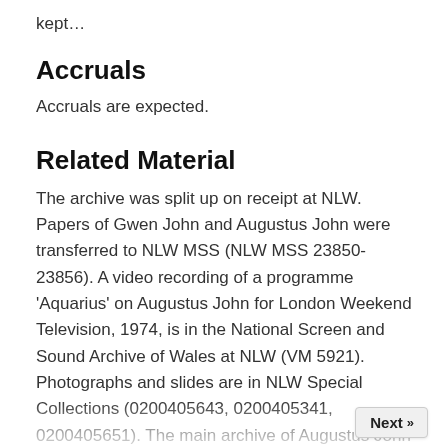kept…
Accruals
Accruals are expected.
Related Material
The archive was split up on receipt at NLW. Papers of Gwen John and Augustus John were transferred to NLW MSS (NLW MSS 23850-23856). A video recording of a programme 'Aquarius' on Augustus John for London Weekend Television, 1974, is in the National Screen and Sound Archive of Wales at NLW (VM 5921). Photographs and slides are in NLW Special Collections (0200405643, 0200405341, 0200405651). The main archive of Augustus John papers was purchased by NLW in 1988 (NLW MSS 22775-22797), together with a group of John and